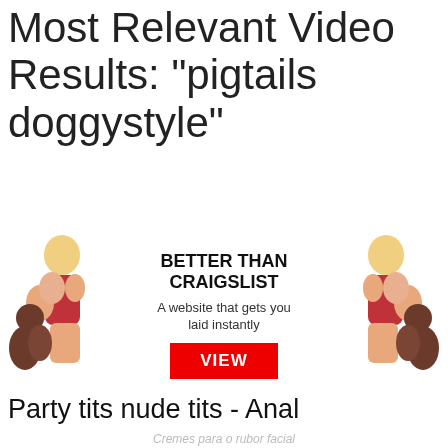Most Relevant Video Results: "pigtails doggystyle"
[Figure (illustration): Advertisement banner: two illustrated figures on left and right, center text reads BETTER THAN CRAIGSLIST, A website that gets you laid instantly, with a red VIEW button]
Party tits nude tits - Anal
Cremes para o rubor facial
Free shemale babysitter creampie fuck clips hard shemale
[Figure (photo): Thumbnail strip of two video thumbnails at the bottom of the page]